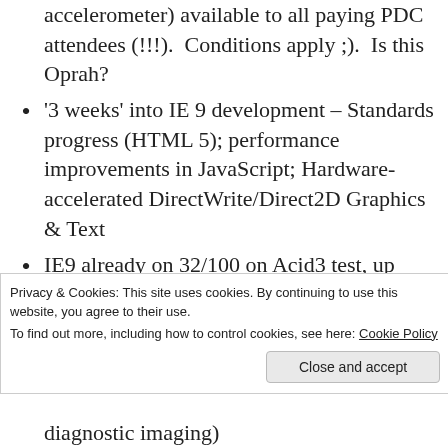accelerometer) available to all paying PDC attendees (!!!).  Conditions apply ;).  Is this Oprah?
'3 weeks' into IE 9 development – Standards progress (HTML 5); performance improvements in JavaScript; Hardware-accelerated DirectWrite/Direct2D Graphics & Text
IE9 already on 32/100 on Acid3 test, up from 20/100 on IE8
Channel9 videos on IE9 being posted today
Silverlight will be used this Winter for
Privacy & Cookies: This site uses cookies. By continuing to use this website, you agree to their use.
To find out more, including how to control cookies, see here: Cookie Policy
diagnostic imaging)